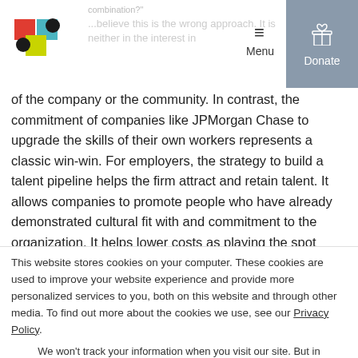Navigation bar with logo, Menu button, and Donate button
of the company or the community. In contrast, the commitment of companies like JPMorgan Chase to upgrade the skills of their own workers represents a classic win-win. For employers, the strategy to build a talent pipeline helps the firm attract and retain talent. It allows companies to promote people who have already demonstrated cultural fit with and commitment to the organization. It helps lower costs as playing the spot market for talent is expensive, particularly for jobs that are in high demand, such as cyber security specialists.
This website stores cookies on your computer. These cookies are used to improve your website experience and provide more personalized services to you, both on this website and through other media. To find out more about the cookies we use, see our Privacy Policy.
We won't track your information when you visit our site. But in order to comply with your preferences, we'll have to use just one tiny cookie so that you're not asked to make this choice again.
Accept | Decline